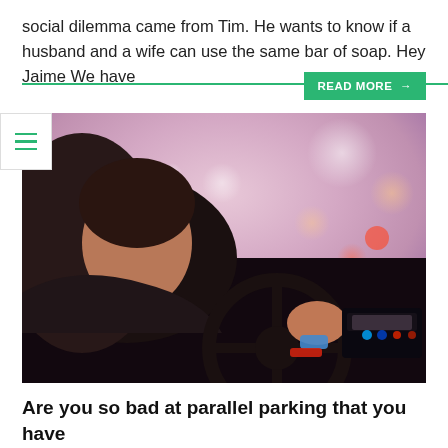social dilemma came from Tim. He wants to know if a husband and a wife can use the same bar of soap. Hey Jaime We have
[Figure (photo): Person sitting in driver seat of a car, seen from behind, gripping steering wheel with right hand wearing a watch and red bracelet, city lights bokeh visible through windshield at dusk]
Are you so bad at parallel parking that you have